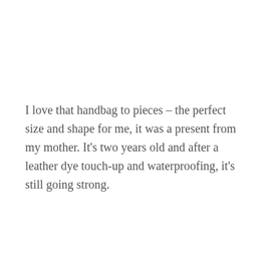I love that handbag to pieces – the perfect size and shape for me, it was a present from my mother. It's two years old and after a leather dye touch-up and waterproofing, it's still going strong.